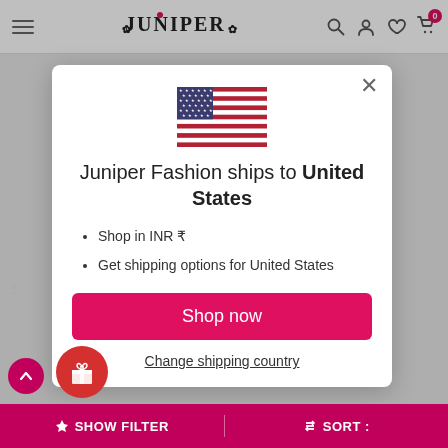[Figure (screenshot): Juniper Fashion e-commerce website with a modal popup showing shipping information to United States. The modal contains a US flag, shipping details, and a shop now button.]
Juniper Fashion ships to United States
Shop in INR ₹
Get shipping options for United States
Shop now
Change shipping country